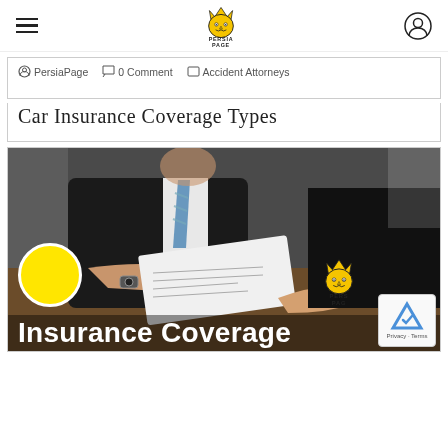PersiaPage navigation header with hamburger menu, logo, and user icon
PersiaPage  0 Comment  Accident Attorneys
Car Insurance Coverage Types
[Figure (photo): A man in a black suit handing a document/check across a desk to another person; overlaid text reads 'Insurance Coverage'; yellow circle and PersiaPage mini logo visible; reCAPTCHA widget in bottom-right corner.]